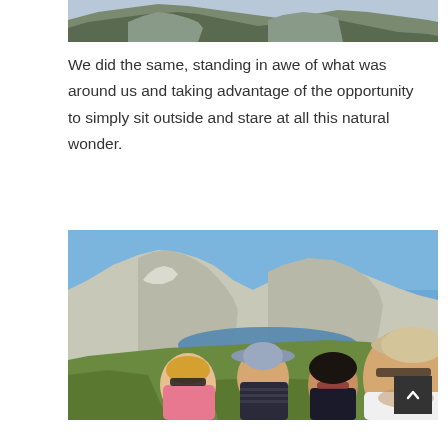[Figure (photo): Top portion of a mountain/nature landscape photo, cropped to show only the upper rocky mountain portion against sky]
We did the same, standing in awe of what was around us and taking advantage of the opportunity to simply sit outside and stare at all this natural wonder.
[Figure (photo): Four people taking a selfie outdoors in a mountain landscape with a lake behind them. From left: a woman with short blonde hair and sunglasses, a man in a dark striped shirt wearing a wide-brimmed hat, an Asian woman with glasses, and a man with glasses and a flat cap in the foreground. Rocky mountains and blue sky in the background.]